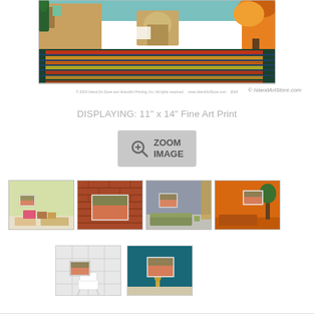[Figure (photo): Colorful impressionist painting of a Provence vineyard with farmhouse, shown as a framed print]
© IslandArtStore.com
DISPLAYING: 11" x 14" Fine Art Print
[Figure (other): Zoom Image button with magnifying glass icon]
[Figure (photo): Thumbnail: artwork displayed on green living room wall]
[Figure (photo): Thumbnail: artwork displayed on brick wall]
[Figure (photo): Thumbnail: artwork displayed on grey living room wall]
[Figure (photo): Thumbnail: artwork displayed on orange wall]
[Figure (photo): Thumbnail: artwork displayed on white tiled wall]
[Figure (photo): Thumbnail: artwork displayed on teal wall]